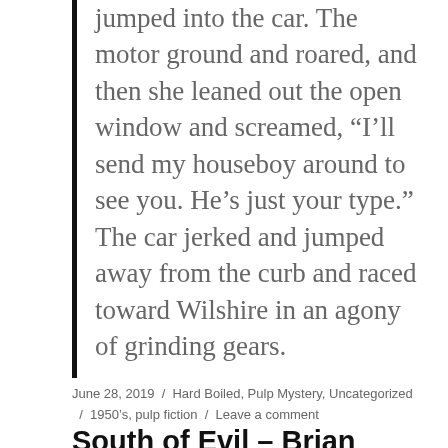jumped into the car. The motor ground and roared, and then she leaned out the open window and screamed, “I’ll send my houseboy around to see you. He’s just your type.” The car jerked and jumped away from the curb and raced toward Wilshire in an agony of grinding gears.
June 28, 2019 / Hard Boiled, Pulp Mystery, Uncategorized / 1950's, pulp fiction / Leave a comment
South of Evil – Brian